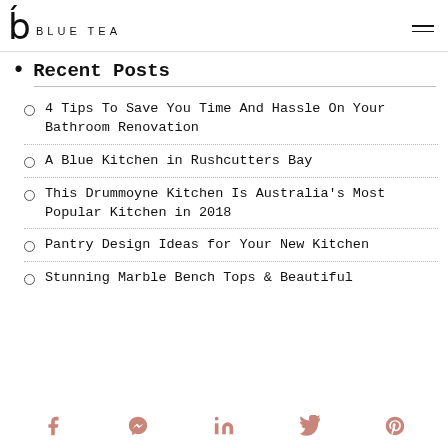BLUE TEA
Recent Posts
4 Tips To Save You Time And Hassle On Your Bathroom Renovation
A Blue Kitchen in Rushcutters Bay
This Drummoyne Kitchen Is Australia's Most Popular Kitchen in 2018
Pantry Design Ideas for Your New Kitchen
Stunning Marble Bench Tops & Beautiful
Social icons: Facebook, Messenger, LinkedIn, Twitter, Pinterest